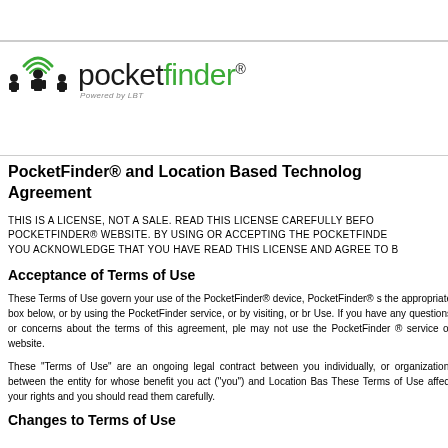PocketFinder® and Location Based Technology Agreement
PocketFinder® and Location Based Technology Agreement
THIS IS A LICENSE, NOT A SALE. READ THIS LICENSE CAREFULLY BEFORE USING THE POCKETFINDER® WEBSITE. BY USING OR ACCEPTING THE POCKETFINDER® SERVICE, YOU ACKNOWLEDGE THAT YOU HAVE READ THIS LICENSE AND AGREE TO BE BOUND BY IT.
Acceptance of Terms of Use
These Terms of Use govern your use of the PocketFinder® device, PocketFinder® service. By checking the appropriate box below, or by using the PocketFinder service, or by visiting, or browsing the Terms of Use. If you have any questions or concerns about the terms of this agreement, please do not use the service, you may not use the PocketFinder ® service or website.
These "Terms of Use" are an ongoing legal contract between you individually, or on behalf of an organization, between the entity for whose benefit you act ("you") and Location Based Technologies. These Terms of Use affect your rights and you should read them carefully.
Changes to Terms of Use